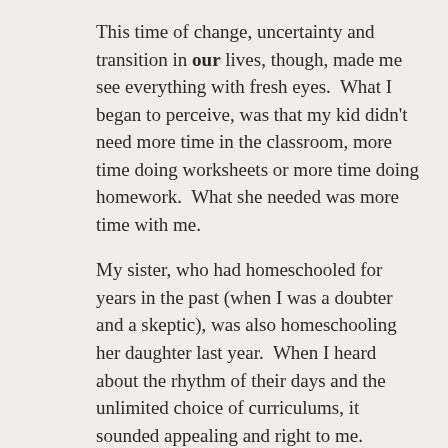This time of change, uncertainty and transition in our lives, though, made me see everything with fresh eyes.  What I began to perceive, was that my kid didn't need more time in the classroom, more time doing worksheets or more time doing homework.  What she needed was more time with me.
My sister, who had homeschooled for years in the past (when I was a doubter and a skeptic), was also homeschooling her daughter last year.  When I heard about the rhythm of their days and the unlimited choice of curriculums, it sounded appealing and right to me.
I brought up the idea to Marina and was surprised by how passionately she felt about wanting to learn at home.  I had to backpedal and tell her I was just talking and not sure about it, because I wasn't.  I